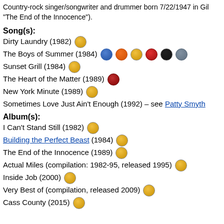Country-rock singer/songwriter and drummer born 7/22/1947 in Gil... "The End of the Innocence").
Song(s):
Dirty Laundry (1982)
The Boys of Summer (1984)
Sunset Grill (1984)
The Heart of the Matter (1989)
New York Minute (1989)
Sometimes Love Just Ain't Enough (1992) – see Patty Smyth
Album(s):
I Can't Stand Still (1982)
Building the Perfect Beast (1984)
The End of the Innocence (1989)
Actual Miles (compilation: 1982-95, released 1995)
Inside Job (2000)
Very Best of (compilation, released 2009)
Cass County (2015)